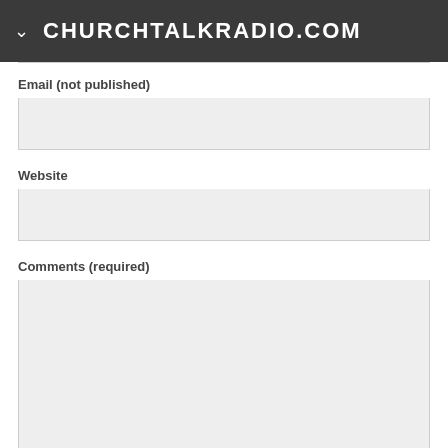CHURCHTALKRADIO.COM
Email (not published)
Website
Comments (required)